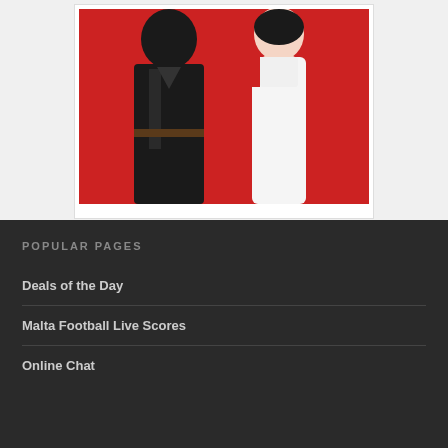[Figure (photo): Two people posing in front of a red background. On the left is a person in a dark suit, and on the right is a person in a white dress with pearl necklace.]
POPULAR PAGES
Deals of the Day
Malta Football Live Scores
Online Chat